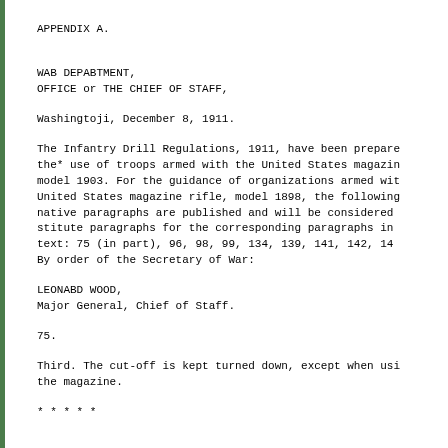APPENDIX A.
WAB DEPABTMENT,
OFFICE or THE CHIEF OF STAFF,
Washingtoji, December 8, 1911.
The Infantry Drill Regulations, 1911, have been prepared for the* use of troops armed with the United States magazine rifle, model 1903. For the guidance of organizations armed with the United States magazine rifle, model 1898, the following alternative paragraphs are published and will be considered as substitute paragraphs for the corresponding paragraphs in the text: 75 (in part), 96, 98, 99, 134, 139, 141, 142, 148.
By order of the Secretary of War:
LEONABD WOOD,
Major General, Chief of Staff.
75.
Third. The cut-off is kept turned down, except when using the magazine.
* * * * *